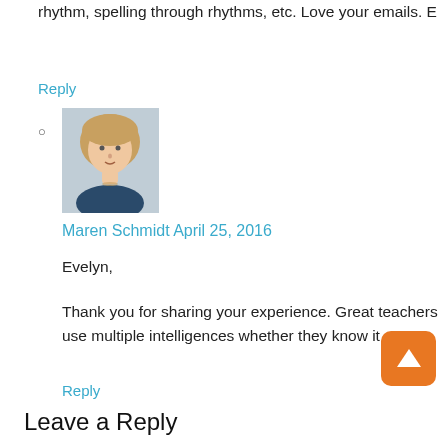rhythm, spelling through rhythms, etc. Love your emails. E
Reply
[Figure (photo): Avatar photo of Maren Schmidt, a woman with short blonde hair]
Maren Schmidt April 25, 2016
Evelyn,
Thank you for sharing your experience. Great teachers use multiple intelligences whether they know it or not.
Reply
Leave a Reply
Name (required)